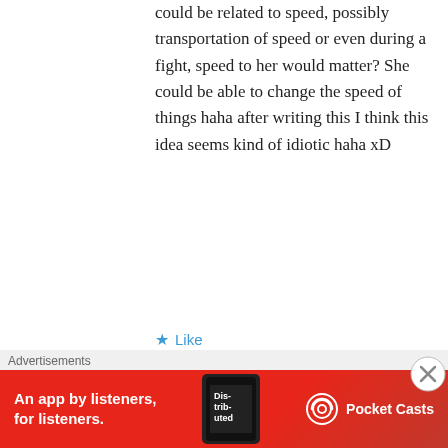could be related to speed, possibly transportation of speed or even during a fight, speed to her would matter? She could be able to change the speed of things haha after writing this I think this idea seems kind of idiotic haha xD
★ Like
Ne3X7
July 25, 2012 at 6:55 pm
Seen a wallpaper of that giant thing fighting, if you don't hurry, I'll post it here.
Advertisements
[Figure (photo): Cartoon crab-like creature avatar image]
[Figure (infographic): Pocket Casts advertisement banner: 'An app by listeners, for listeners.' with phone image and Pocket Casts logo on red background]